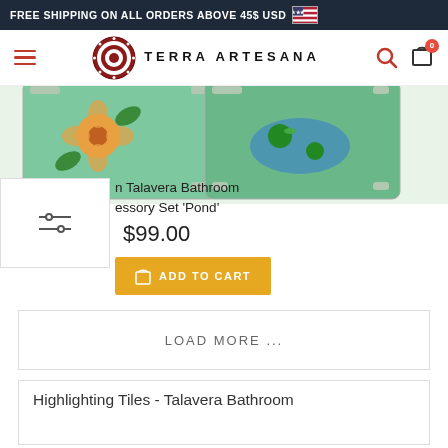FREE SHIPPING ON ALL ORDERS ABOVE 45$ USD 🇺🇸
[Figure (logo): Terra Artesana logo with circular decorative emblem and text TERRA ARTESANA]
[Figure (photo): Talavera bathroom tiles with floral and pond designs, colorful blue green orange]
n Talavera Bathroom essory Set 'Pond'
$99.00
ADD TO CART
LOAD MORE ...
Highlighting Tiles - Talavera Bathroom